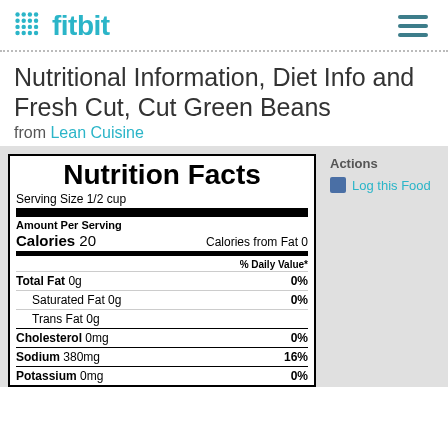fitbit
Nutritional Information, Diet Info and Fresh Cut, Cut Green Beans from Lean Cuisine
| Nutrient | Amount | % Daily Value |
| --- | --- | --- |
| Serving Size | 1/2 cup |  |
| Calories | 20 |  |
| Calories from Fat | 0 |  |
| Total Fat | 0g | 0% |
| Saturated Fat | 0g | 0% |
| Trans Fat | 0g |  |
| Cholesterol | 0mg | 0% |
| Sodium | 380mg | 16% |
| Potassium | 0mg | 0% |